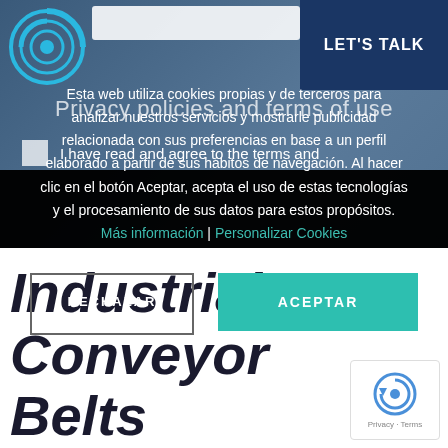[Figure (logo): Circular blue logo with concentric rings]
[Figure (screenshot): Navigation search bar input field]
LET'S TALK
Privacy policies and terms of use
I have read and agree to the terms and
Esta web utiliza cookies propias y de terceros para analizar nuestros servicios y mostrarle publicidad relacionada con sus preferencias en base a un perfil elaborado a partir de sus hábitos de navegación. Al hacer clic en el botón Aceptar, acepta el uso de estas tecnologías y el procesamiento de sus datos para estos propósitos. Más información | Personalizar Cookies
RECHAZAR
ACEPTAR
Industrial Conveyor Belts
[Figure (logo): Google reCAPTCHA badge with circular arrow icon and Privacy - Terms text]